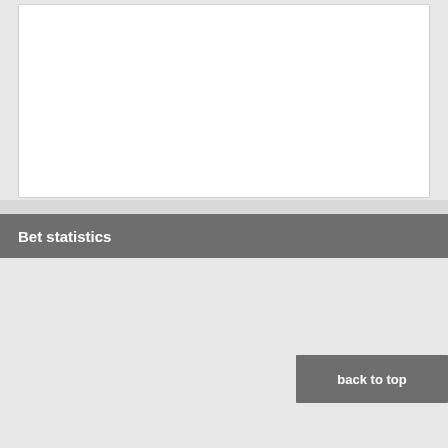[Figure (other): White card/panel area at top of page]
Bet statistics
[Figure (bar-chart): 1 X 2]
back to top